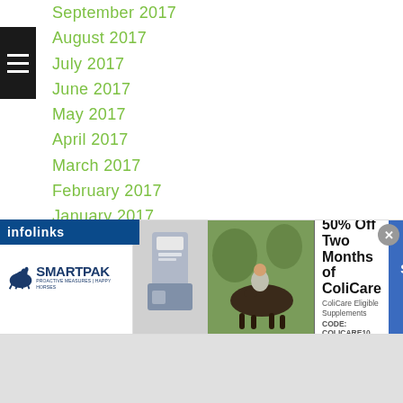September 2017
August 2017
July 2017
June 2017
May 2017
April 2017
March 2017
February 2017
January 2017
December 2016
November 2016
October 2016
September 2016
August 2016
July 2016
June 2016
[Figure (illustration): SmartPak advertisement banner: 50% Off Two Months of ColiCare, ColiCare Eligible Supplements, CODE: COLICARE10, Shop Now button]